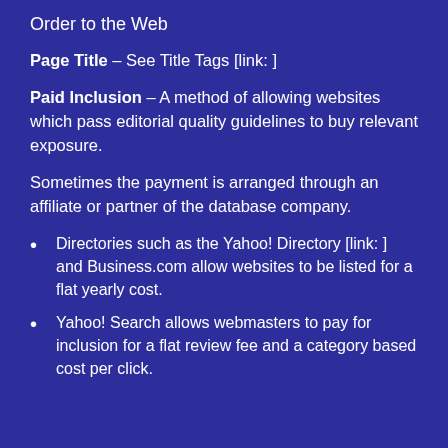Order to the Web
Page Title – See Title Tags [link: ]
Paid Inclusion – A method of allowing websites which pass editorial quality guidelines to buy relevant exposure.
Sometimes the payment is arranged through an affiliate or partner of the database company.
Directories such as the Yahoo! Directory [link: ] and Business.com allow websites to be listed for a flat yearly cost.
Yahoo! Search allows webmasters to pay for inclusion for a flat review fee and a category based cost per click.